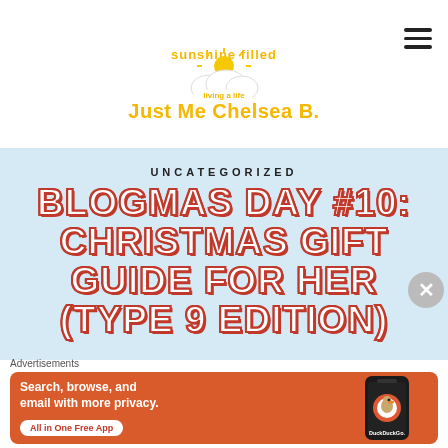[Figure (logo): Just Me Chelsea B. blog logo with sun, cloud, and yellow text reading 'sunshine filled living a life Just Me Chelsea B.']
UNCATEGORIZED
BLOGMAS DAY #10: CHRISTMAS GIFT GUIDE FOR HER (TYPE 9 EDITION)
Advertisements
[Figure (screenshot): DuckDuckGo advertisement banner: Search, browse, and email with more privacy. All in One Free App.]